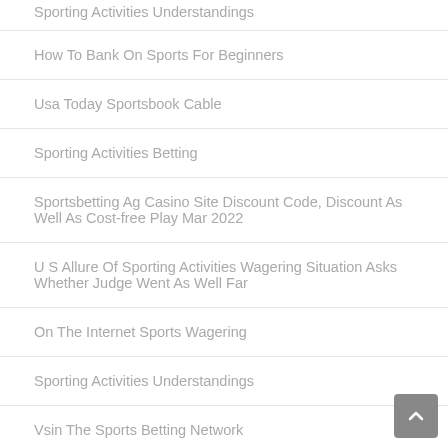Sporting Activities Understandings
How To Bank On Sports For Beginners
Usa Today Sportsbook Cable
Sporting Activities Betting
Sportsbetting Ag Casino Site Discount Code, Discount As Well As Cost-free Play Mar 2022
U S Allure Of Sporting Activities Wagering Situation Asks Whether Judge Went As Well Far
On The Internet Sports Wagering
Sporting Activities Understandings
Vsin The Sports Betting Network
Penn National Online Sportsbook Sneak Peek & Discounts 2022
Is Penn Nationwide Video Gaming Supply A Buy As Sports